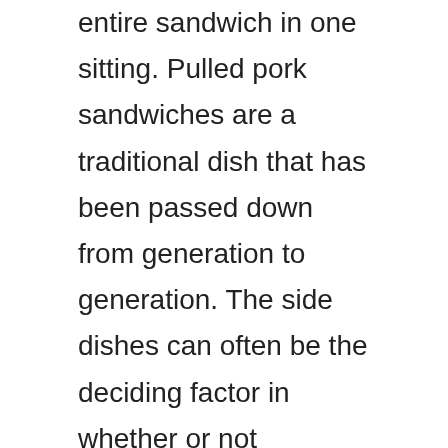entire sandwich in one sitting. Pulled pork sandwiches are a traditional dish that has been passed down from generation to generation. The side dishes can often be the deciding factor in whether or not someone will enjoy a meal. There are many side dishes that go well with pulled pork sandwiches, including coleslaw, mashed potatoes, jalapeno corn bread bake, and potato